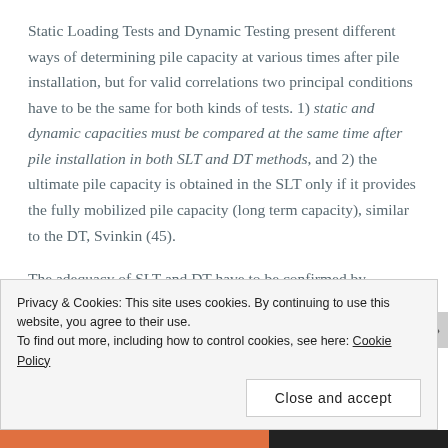Static Loading Tests and Dynamic Testing present different ways of determining pile capacity at various times after pile installation, but for valid correlations two principal conditions have to be the same for both kinds of tests. 1) static and dynamic capacities must be compared at the same time after pile installation in both SLT and DT methods, and 2) the ultimate pile capacity is obtained in the SLT only if it provides the fully mobilized pile capacity (long term capacity), similar to the DT, Svinkin (45).
The adequacy of SLT and DT have to be confirmed by
Privacy & Cookies: This site uses cookies. By continuing to use this website, you agree to their use.
To find out more, including how to control cookies, see here: Cookie Policy
Close and accept